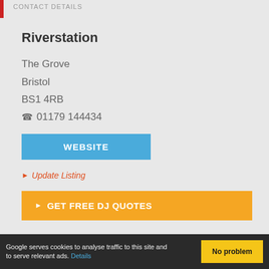CONTACT DETAILS
Riverstation
The Grove
Bristol
BS1 4RB
☎ 01179 144434
WEBSITE
▶ Update Listing
▶ GET FREE DJ QUOTES
Google serves cookies to analyse traffic to this site and to serve relevant ads. Details
No problem